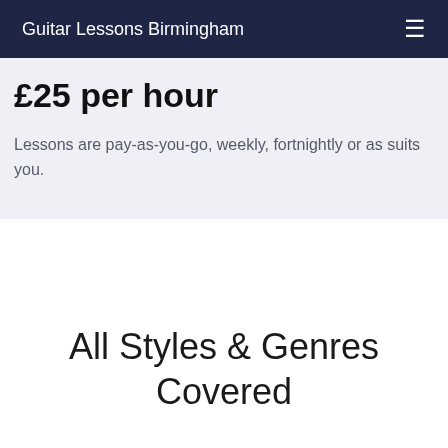Guitar Lessons Birmingham
£25 per hour
Lessons are pay-as-you-go, weekly, fortnightly or as suits you.
All Styles & Genres Covered